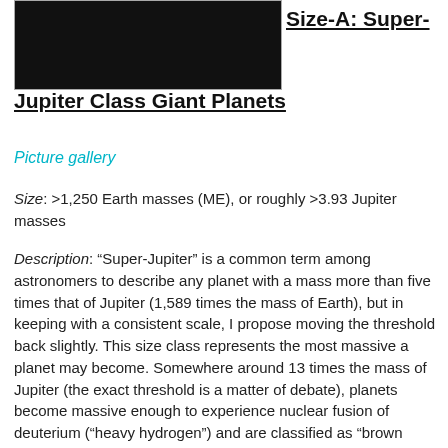[Figure (photo): Partial view of a dark space/planet image at top of page]
Size-A: Super-Jupiter Class Giant Planets
Picture gallery
Size: >1,250 Earth masses (ME), or roughly >3.93 Jupiter masses
Description: “Super-Jupiter” is a common term among astronomers to describe any planet with a mass more than five times that of Jupiter (1,589 times the mass of Earth), but in keeping with a consistent scale, I propose moving the threshold back slightly. This size class represents the most massive a planet may become. Somewhere around 13 times the mass of Jupiter (the exact threshold is a matter of debate), planets become massive enough to experience nuclear fusion of deuterium (“heavy hydrogen”) and are classified as “brown dwarfs,” an intermediate stage between main sequence stars (massive enough to sustain hydrogen-1 fusion) and planets (no fusion). Even though Super-Jupiter